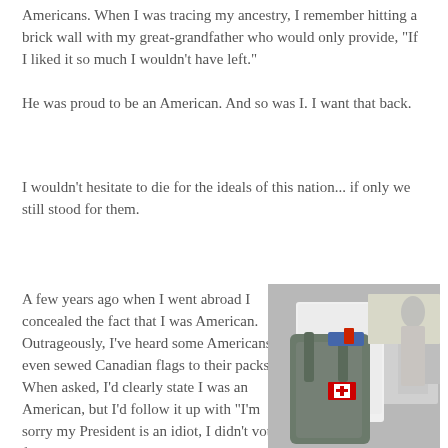Americans. When I was tracing my ancestry, I remember hitting a brick wall with my great-grandfather who would only provide, "If I liked it so much I wouldn't have left."

He was proud to be an American. And so was I. I want that back.
I wouldn't hesitate to die for the ideals of this nation... if only we still stood for them.
A few years ago when I went abroad I concealed the fact that I was American. Outrageously, I've heard some Americans even sewed Canadian flags to their packs. When asked, I'd clearly state I was an American, but I'd follow it up with "I'm sorry my President is an idiot, I didn't vote for him." That same sentence I
[Figure (photo): A person from behind wearing a white shirt and backpack with a Canadian flag patch on it, in a crowded indoor setting.]